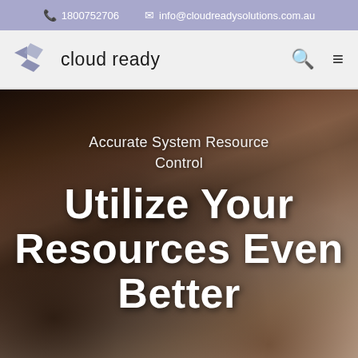1800752706  info@cloudreadysolutions.com.au
[Figure (logo): Cloud Ready logo — stylized blue/grey leaf/arrow shapes with text 'cloud ready']
Accurate System Resource Control
Utilize Your Resources Even Better